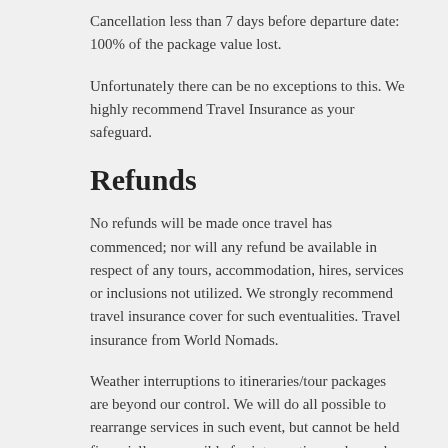Cancellation less than 7 days before departure date: 100% of the package value lost.
Unfortunately there can be no exceptions to this. We highly recommend Travel Insurance as your safeguard.
Refunds
No refunds will be made once travel has commenced; nor will any refund be available in respect of any tours, accommodation, hires, services or inclusions not utilized. We strongly recommend travel insurance cover for such eventualities. Travel insurance from World Nomads.
Weather interruptions to itineraries/tour packages are beyond our control. We will do all possible to rearrange services in such event, but cannot be held financially responsible for interruption under such circumstances. We strongly recommend travel